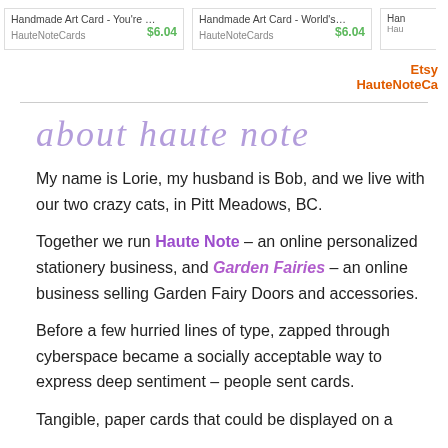[Figure (screenshot): Product cards for Handmade Art Cards from HauteNoteCards priced at $6.04 each]
Etsy
HauteNoteCa
about haute note
My name is Lorie, my husband is Bob, and we live with our two crazy cats, in Pitt Meadows, BC.
Together we run Haute Note – an online personalized stationery business, and Garden Fairies – an online business selling Garden Fairy Doors and accessories.
Before a few hurried lines of type, zapped through cyberspace became a socially acceptable way to express deep sentiment – people sent cards.
Tangible, paper cards that could be displayed on a